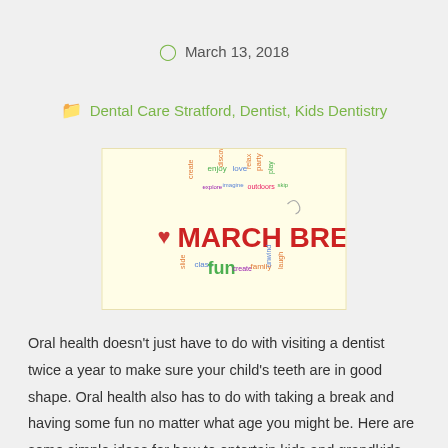March 13, 2018
Dental Care Stratford, Dentist, Kids Dentistry
[Figure (illustration): March Break word cloud image with colorful words including MARCH BREAK in red, fun, love, enjoy, family, laugh, outdoors, party, and other activity words on a light yellow background.]
Oral health doesn't just have to do with visiting a dentist twice a year to make sure your child's teeth are in good shape. Oral health also has to do with taking a break and having some fun no matter what age you might be. Here are some simple ideas for how to entertain kids and grandkids over the March Break without spending a bundle: